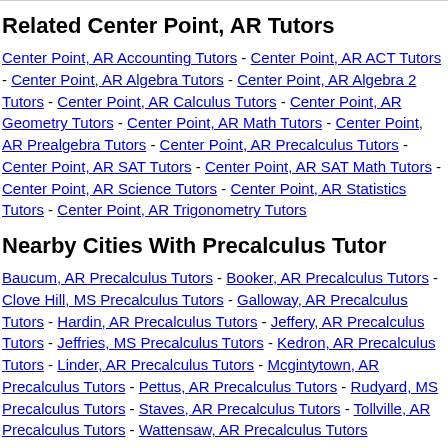Related Center Point, AR Tutors
Center Point, AR Accounting Tutors - Center Point, AR ACT Tutors - Center Point, AR Algebra Tutors - Center Point, AR Algebra 2 Tutors - Center Point, AR Calculus Tutors - Center Point, AR Geometry Tutors - Center Point, AR Math Tutors - Center Point, AR Prealgebra Tutors - Center Point, AR Precalculus Tutors - Center Point, AR SAT Tutors - Center Point, AR SAT Math Tutors - Center Point, AR Science Tutors - Center Point, AR Statistics Tutors - Center Point, AR Trigonometry Tutors
Nearby Cities With Precalculus Tutor
Baucum, AR Precalculus Tutors - Booker, AR Precalculus Tutors - Clove Hill, MS Precalculus Tutors - Galloway, AR Precalculus Tutors - Hardin, AR Precalculus Tutors - Jeffery, AR Precalculus Tutors - Jeffries, MS Precalculus Tutors - Kedron, AR Precalculus Tutors - Linder, AR Precalculus Tutors - Mcgintytown, AR Precalculus Tutors - Pettus, AR Precalculus Tutors - Rudyard, MS Precalculus Tutors - Staves, AR Precalculus Tutors - Tollville, AR Precalculus Tutors - Wattensaw, AR Precalculus Tutors